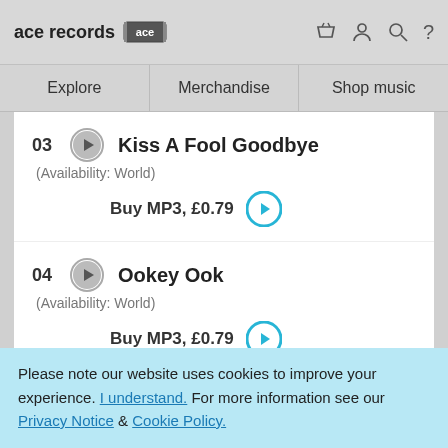ace records [ace logo]
Explore | Merchandise | Shop music
03  Kiss A Fool Goodbye
(Availability: World)
Buy MP3, £0.79
04  Ookey Ook
(Availability: World)
Buy MP3, £0.79
Please note our website uses cookies to improve your experience. I understand. For more information see our Privacy Notice & Cookie Policy.